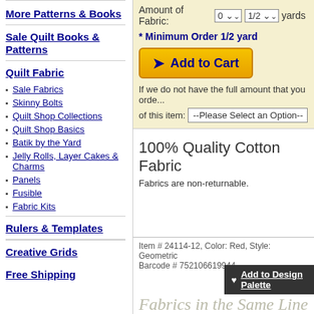More Patterns & Books
Sale Quilt Books & Patterns
Quilt Fabric
Sale Fabrics
Skinny Bolts
Quilt Shop Collections
Quilt Shop Basics
Batik by the Yard
Jelly Rolls, Layer Cakes & Charms
Panels
Fusible
Fabric Kits
Rulers & Templates
Creative Grids
Free Shipping
Amount of Fabric: 0 ▾ 1/2 ▾ yards
* Minimum Order 1/2 yard
Add to Cart
If we do not have the full amount that you order
of this item: --Please Select an Option--
100% Quality Cotton Fabric
Fabrics are non-returnable.
Item # 24114-12, Color: Red, Style: Geometric
Barcode # 752106619944
♥ Add to Design Palette
Fabrics in the Same Line